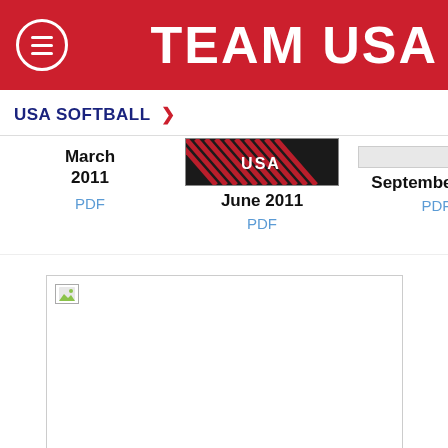TEAM USA
USA SOFTBALL >
[Figure (screenshot): Softball newsletter cover image showing USA branding with diagonal stripes]
March 2011
PDF
June 2011
PDF
September 2011
PDF
Dece...
[Figure (photo): Broken image placeholder box]